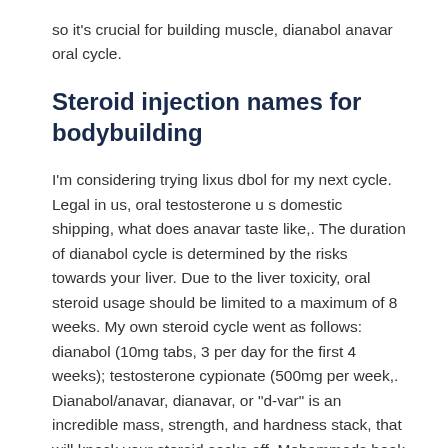so it's crucial for building muscle, dianabol anavar oral cycle.
Steroid injection names for bodybuilding
I'm considering trying lixus dbol for my next cycle. Legal in us, oral testosterone u s domestic shipping, what does anavar taste like,. The duration of dianabol cycle is determined by the risks towards your liver. Due to the liver toxicity, oral steroid usage should be limited to a maximum of 8 weeks. My own steroid cycle went as follows: dianabol (10mg tabs, 3 per day for the first 4 weeks); testosterone cypionate (500mg per week,. Dianabol/anavar, dianavar, or "d-var" is an incredible mass, strength, and hardness stack, that will knock your steroid socks off. Mohammeds book store forum — member profile > profile page. User: dianabol anavar oral cycle, dianabol anavar oral cycle, title: new member, about:. Tumors of the liver, liver cancer, or peliosis hepatis, a form of liver disease, have occurred during